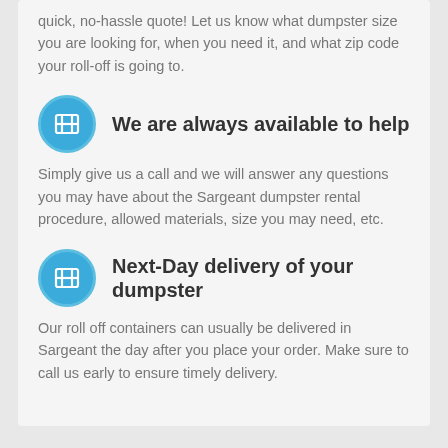quick, no-hassle quote! Let us know what dumpster size you are looking for, when you need it, and what zip code your roll-off is going to.
We are always available to help
Simply give us a call and we will answer any questions you may have about the Sargeant dumpster rental procedure, allowed materials, size you may need, etc.
Next-Day delivery of your dumpster
Our roll off containers can usually be delivered in Sargeant the day after you place your order. Make sure to call us early to ensure timely delivery.
Get a Quote! 888-880-657